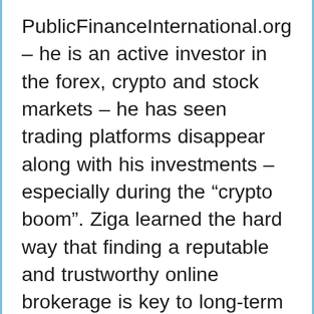PublicFinanceInternational.org – he is an active investor in the forex, crypto and stock markets – he has seen trading platforms disappear along with his investments – especially during the “crypto boom”. Ziga learned the hard way that finding a reputable and trustworthy online brokerage is key to long-term success in the financial markets. He founded PublicFinanceInternational.org as a platform where he shares his